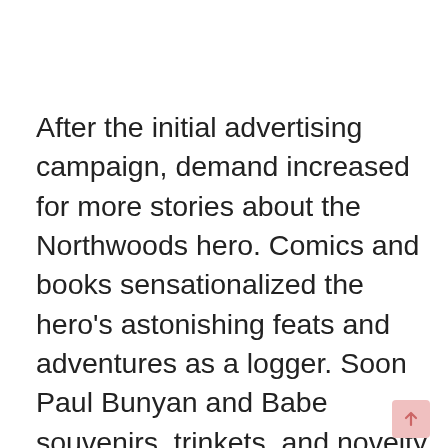After the initial advertising campaign, demand increased for more stories about the Northwoods hero. Comics and books sensationalized the hero's astonishing feats and adventures as a logger. Soon Paul Bunyan and Babe souvenirs, trinkets, and novelty items cluttered Northwoods gift shops and tourist traps everywhere. Vacationing families visited roadside stops across the north country to see statues of the big lug and take pictures of him with the kids.